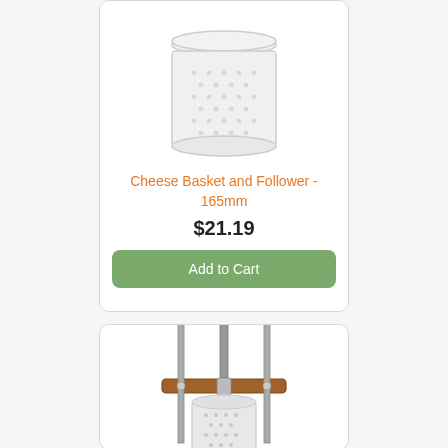[Figure (photo): White plastic cheese basket (cylindrical container) with lid, perforated sides]
Cheese Basket and Follower - 165mm
$21.19
Add to Cart
[Figure (photo): Cheese press device with metal frame, wooden cross-beam handle, spring mechanism, and white cylindrical mold]